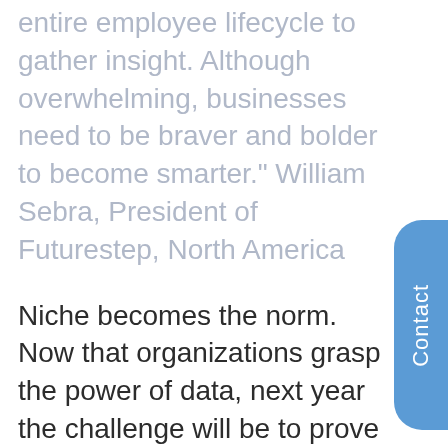entire employee lifecycle to gather insight. Although overwhelming, businesses need to be braver and bolder to become smarter." William Sebra, President of Futurestep, North America
Niche becomes the norm. Now that organizations grasp the power of data, next year the challenge will be to prove ROI on all activities using analytics. At the recruitment level, a plethora of channels are now available to brands to reach prospective candidates. Organizations need to be clear on the touch points that fit best with